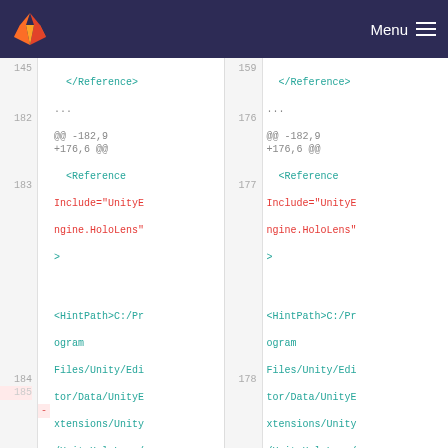Menu
[Figure (screenshot): GitLab diff view showing two panes of XML code changes. Left pane shows lines 145-185, right pane shows lines 159-178. Code includes XML Reference elements with Include and HintPath attributes for UnityEngine.HoloLens DLL paths.]